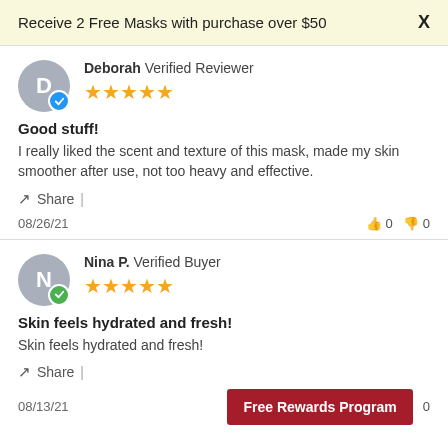Receive 2 Free Masks with purchase over $50  X
Deborah  Verified Reviewer
[Figure (other): 5-star rating with blue verified badge avatar for Deborah]
Good stuff!
I really liked the scent and texture of this mask, made my skin smoother after use, not too heavy and effective.
Share |
08/26/21   👍 0   👎 0
Nina P.  Verified Buyer
[Figure (other): 5-star rating with green verified badge avatar for Nina P.]
Skin feels hydrated and fresh!
Skin feels hydrated and fresh!
Share |
08/13/21   Free Rewards Program   0